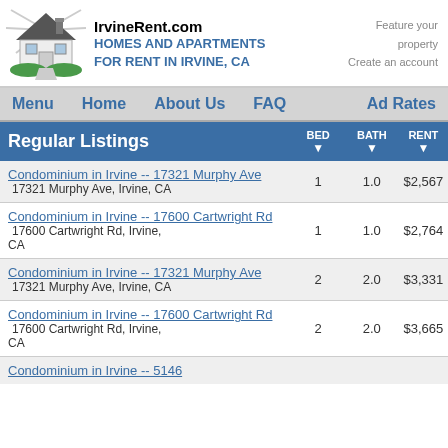IrvineRent.com HOMES AND APARTMENTS FOR RENT IN IRVINE, CA
Feature your property  Create an account
Menu  Home  About Us  FAQ  Ad Rates
| Regular Listings | BED | BATH | RENT |
| --- | --- | --- | --- |
| Condominium in Irvine -- 17321 Murphy Ave
  17321 Murphy Ave, Irvine, CA | 1 | 1.0 | $2,567 |
| Condominium in Irvine -- 17600 Cartwright Rd
  17600 Cartwright Rd, Irvine, CA | 1 | 1.0 | $2,764 |
| Condominium in Irvine -- 17321 Murphy Ave
  17321 Murphy Ave, Irvine, CA | 2 | 2.0 | $3,331 |
| Condominium in Irvine -- 17600 Cartwright Rd
  17600 Cartwright Rd, Irvine, CA | 2 | 2.0 | $3,665 |
| Condominium in Irvine -- 5146... |  |  |  |